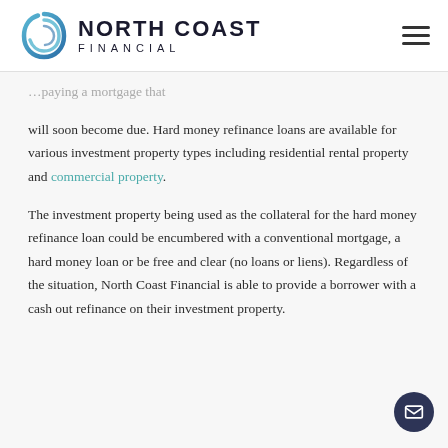North Coast Financial
will soon become due. Hard money refinance loans are available for various investment property types including residential rental property and commercial property.
The investment property being used as the collateral for the hard money refinance loan could be encumbered with a conventional mortgage, a hard money loan or be free and clear (no loans or liens). Regardless of the situation, North Coast Financial is able to provide a borrower with a cash out refinance on their investment property.